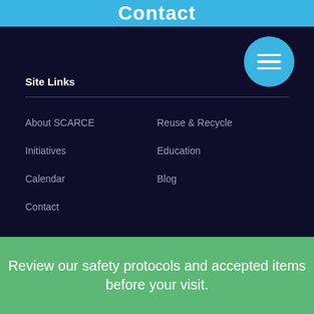Contact
Site Links
About SCARCE
Reuse & Recycle
Initiatives
Education
Calendar
Blog
Contact
Blog Categories
Review our safety protocols and accepted items before your visit.